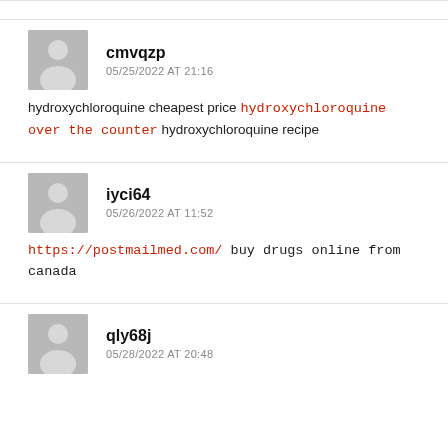cmvqzp — 05/25/2022 AT 21:16 — hydroxychloroquine cheapest price hydroxychloroquine over the counter hydroxychloroquine recipe
iyci64 — 05/26/2022 AT 11:52 — https://postmailmed.com/ buy drugs online from canada
qly68j — 05/28/2022 AT 20:48